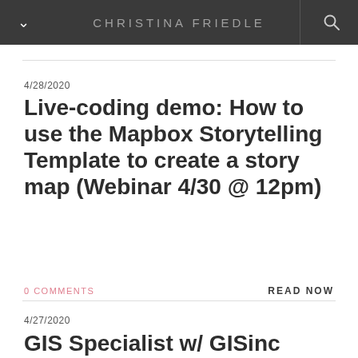CHRISTINA FRIEDLE
4/28/2020
Live-coding demo: How to use the Mapbox Storytelling Template to create a story map (Webinar 4/30 @ 12pm)
0 COMMENTS
READ NOW
4/27/2020
GIS Specialist w/ GISinc